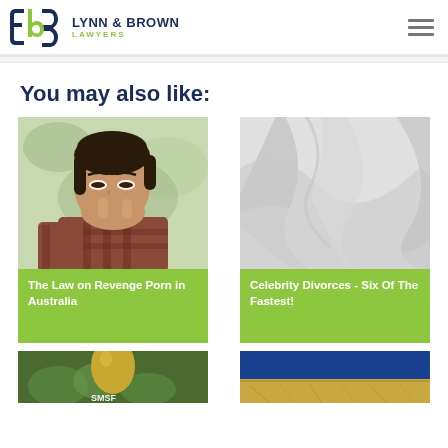Lynn & Brown Lawyers
You may also like:
[Figure (photo): Young girl looking at smartphone with shocked expression, covering mouth with hand]
The Law on Revenge Porn in Australia
[Figure (photo): Grey abstract decorative background with swooping wave shapes]
Celebrity Divorces - Six Of The Fastest!
[Figure (photo): Partial image of a gold egg nest, SMSF text visible at bottom]
[Figure (photo): Partial image with blue and golden/wheat texture background]